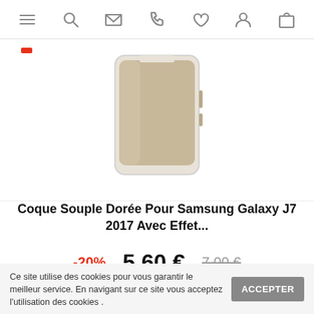Navigation bar with menu, search, mail, phone, wishlist, account, cart icons
[Figure (photo): Product photo of a beige/golden soft phone case for Samsung Galaxy J7 2017, shown against white background. Red sale badge in top left corner.]
Coque Souple Dorée Pour Samsung Galaxy J7 2017 Avec Effet...
-20%   5,60 €   7,00 €
[Figure (infographic): Three action buttons: grey wishlist/heart button, peach/pink eye/preview button, orange shopping cart/add to cart button]
Ce site utilise des cookies pour vous garantir le meilleur service. En navigant sur ce site vous acceptez l'utilisation des cookies .